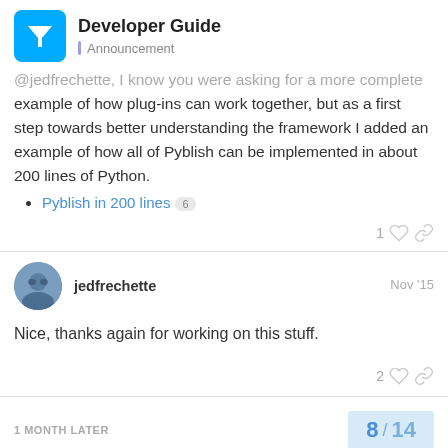Developer Guide | Announcement
@jedfrechette, I know you were asking for a more complete example of how plug-ins can work together, but as a first step towards better understanding the framework I added an example of how all of Pyblish can be implemented in about 200 lines of Python.
Pyblish in 200 lines  6
1 ♡ 🔗
jedfrechette  Nov '15
Nice, thanks again for working on this stuff.
2 ♡ 🔗
1 MONTH LATER
8 / 14